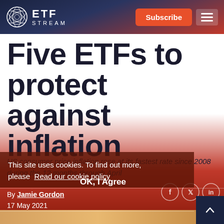ETF STREAM
Five ETFs to protect against inflation
US consumer price inflation rose at its fastest rate since 2008 during the 12 months through April
This site uses cookies. To find out more, please Read our cookie policy
OK, I Agree
By Jamie Gordon
17 May 2021